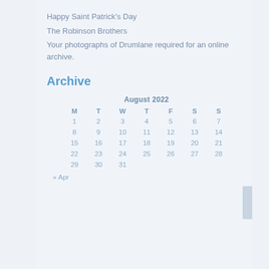Happy Saint Patrick's Day
The Robinson Brothers
Your photographs of Drumlane required for an online archive.
Archive
| M | T | W | T | F | S | S |
| --- | --- | --- | --- | --- | --- | --- |
| 1 | 2 | 3 | 4 | 5 | 6 | 7 |
| 8 | 9 | 10 | 11 | 12 | 13 | 14 |
| 15 | 16 | 17 | 18 | 19 | 20 | 21 |
| 22 | 23 | 24 | 25 | 26 | 27 | 28 |
| 29 | 30 | 31 |  |  |  |  |
« Apr